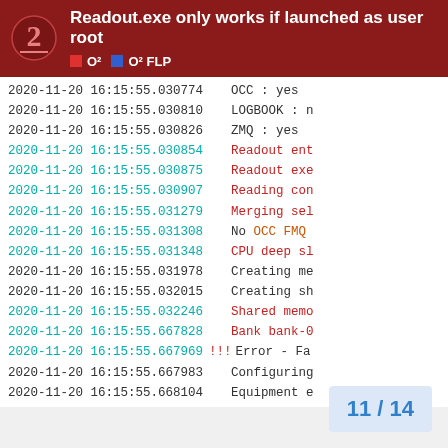Readout.exe only works if launched as user root | O² | O² FLP
2020-11-20 16:15:55.030774    OCC : yes
2020-11-20 16:15:55.030810    LOGBOOK : n
2020-11-20 16:15:55.030826    ZMQ : yes
2020-11-20 16:15:55.030854    Readout ent
2020-11-20 16:15:55.030875    Readout exe
2020-11-20 16:15:55.030907    Reading con
2020-11-20 16:15:55.031279    Merging sel
2020-11-20 16:15:55.031308    No OCC FMQ
2020-11-20 16:15:55.031348    CPU deep sl
2020-11-20 16:15:55.031978    Creating me
2020-11-20 16:15:55.032015    Creating sh
2020-11-20 16:15:55.032246    Shared memo
2020-11-20 16:15:55.667828    Bank bank-0
2020-11-20 16:15:55.667969 !!! Error - Fa
2020-11-20 16:15:55.667983    Configuring
2020-11-20 16:15:55.668104    Equipment e
11 / 14